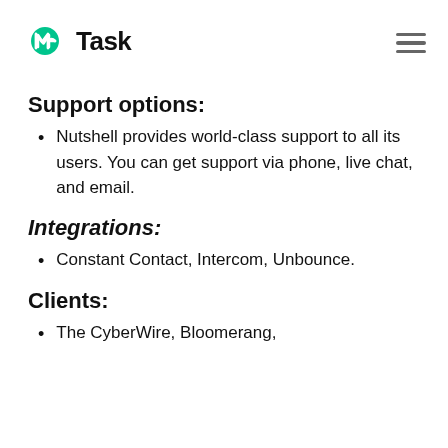nTask
Support options:
Nutshell provides world-class support to all its users. You can get support via phone, live chat, and email.
Integrations:
Constant Contact, Intercom, Unbounce.
Clients:
The CyberWire, Bloomerang,